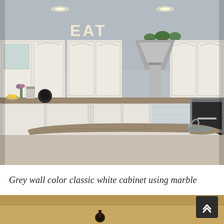[Figure (photo): Interior photo of a kitchen with white cabinets, grey walls, stainless steel range hood, large curved granite-topped island with sink, stainless steel double oven, white flowers in vase, decorative EAT letters above upper cabinets, tile floor.]
Grey wall color classic white cabinet using marble